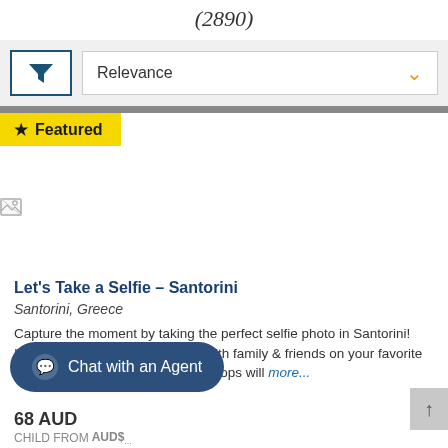(2890)
[Figure (screenshot): Filter icon button with funnel symbol and Relevance dropdown with orange chevron]
★ Featured
[Figure (photo): Broken image placeholder for listing photo]
Let's Take a Selfie – Santorini
Santorini, Greece
Capture the moment by taking the perfect selfie photo in Santorini! Instantly share your experience with family & friends on your favorite social media site as many of the stops will … more...
Chat with an Agent
68 AUD
CHILD FROM AUD$...